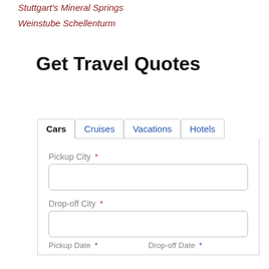Stuttgart's Mineral Springs
Weinstube Schellenturm
Get Travel Quotes
[Figure (screenshot): Tab interface with Cars (active), Cruises, Vacations, Hotels tabs, and a form with Pickup City and Drop-off City input fields]
Pickup City *
Drop-off City *
Pickup Date * Drop-off Date *